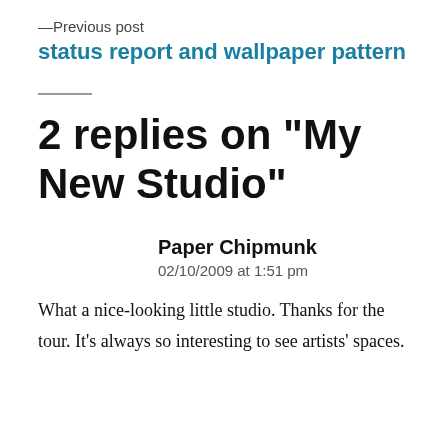—Previous post
status report and wallpaper pattern
2 replies on “My New Studio”
Paper Chipmunk
02/10/2009 at 1:51 pm
What a nice-looking little studio. Thanks for the tour. It’s always so interesting to see artists’ spaces.